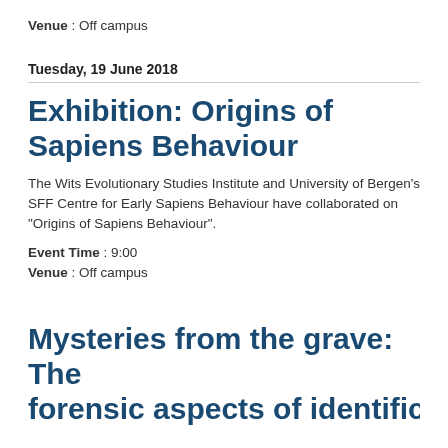Venue : Off campus
Tuesday, 19 June 2018
Exhibition: Origins of Sapiens Behaviour
The Wits Evolutionary Studies Institute and University of Bergen's SFF Centre for Early Sapiens Behaviour have collaborated on "Origins of Sapiens Behaviour".
Event Time : 9:00
Venue : Off campus
Mysteries from the grave: The forensic aspects of identification